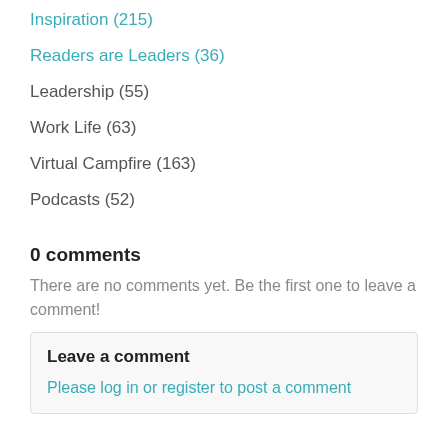Inspiration (215)
Readers are Leaders (36)
Leadership (55)
Work Life (63)
Virtual Campfire (163)
Podcasts (52)
0 comments
There are no comments yet. Be the first one to leave a comment!
Leave a comment
Please log in or register to post a comment